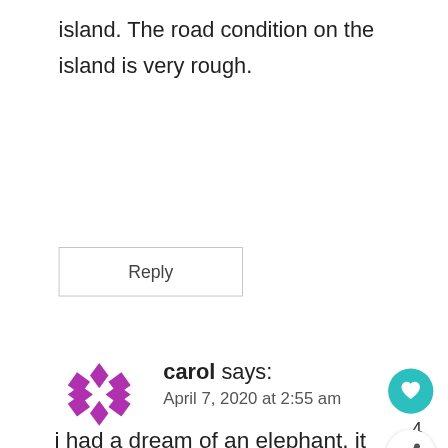island. The road condition on the island is very rough.
Reply
carol says:
April 7, 2020 at 2:55 am
i had a dream of an elephant, it was great
[Figure (screenshot): Bottom ad banner showing a dog image and 'CHANGE A LIFE' text on green background with close button and partial text on right side.]